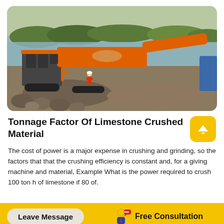[Figure (photo): Large orange mobile rock crusher machine operating at a quarry site near a river, with a worker standing beside it and piles of crushed stone/rocks.]
Tonnage Factor Of Limestone Crushed Material
The cost of power is a major expense in crushing and grinding, so the factors that that the crushing efficiency is constant and, for a giving machine and material, Example What is the power required to crush 100 ton h of limestone if 80 of.
Leave Message   Free Consultation